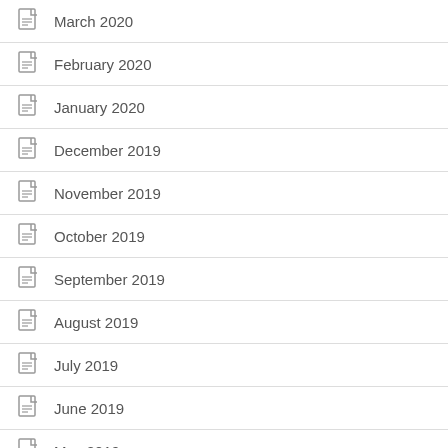March 2020
February 2020
January 2020
December 2019
November 2019
October 2019
September 2019
August 2019
July 2019
June 2019
May 2019
April 2019
February 2019
January 2019